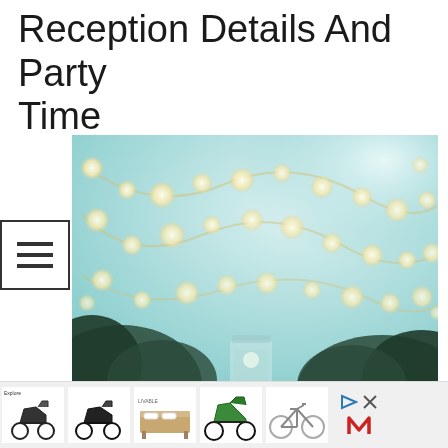Reception Details And Party Time
[Figure (photo): Bokeh photo of string lights strands draped across a teal/blue sky background with dark foliage silhouettes at bottom, and a glass jar candle holder at the bottom center]
[Figure (infographic): Advertisement strip at the bottom showing thumbnail images of scooters, motorcycles, a bed, a sports motorcycle, a bicycle, and brand logos including a play button icon and a stylized M logo]